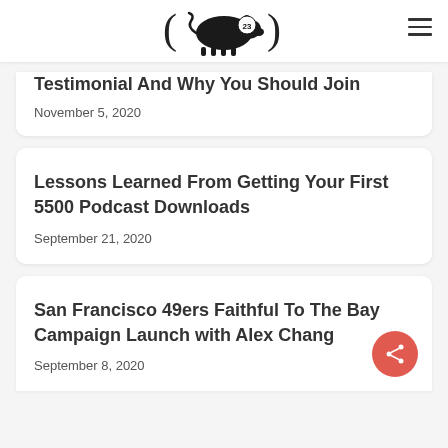Pig 23 logo with hamburger menu
Testimonial And Why You Should Join
November 5, 2020
Lessons Learned From Getting Your First 5500 Podcast Downloads
September 21, 2020
San Francisco 49ers Faithful To The Bay Campaign Launch with Alex Chang
September 8, 2020